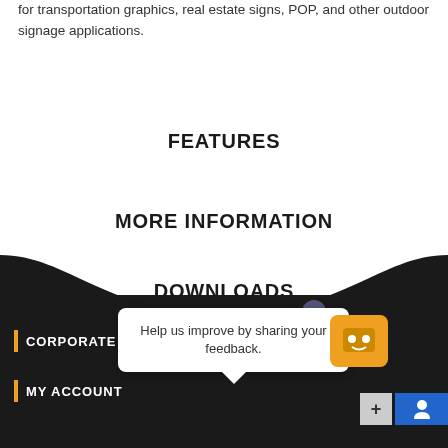for transportation graphics, real estate signs, POP, and other outdoor signage applications.
FEATURES
MORE INFORMATION
DOWNLOADS
CORPORATE OF...
MY ACCOUNT
Help us improve by sharing your feedback.